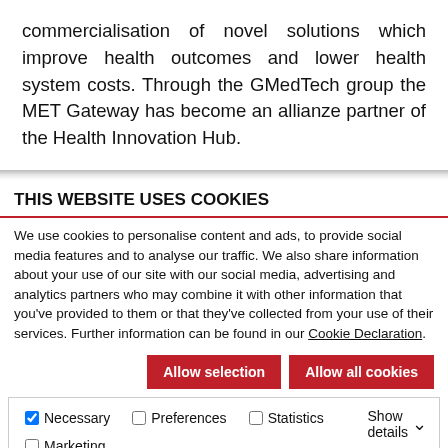commercialisation of novel solutions which improve health outcomes and lower health system costs. Through the GMedTech group the MET Gateway has become an allianze partner of the Health Innovation Hub.
THIS WEBSITE USES COOKIES
We use cookies to personalise content and ads, to provide social media features and to analyse our traffic. We also share information about your use of our site with our social media, advertising and analytics partners who may combine it with other information that you've provided to them or that they've collected from your use of their services. Further information can be found in our Cookie Declaration.
Allow selection | Allow all cookies | Necessary (checked) | Preferences | Statistics | Marketing | Show details